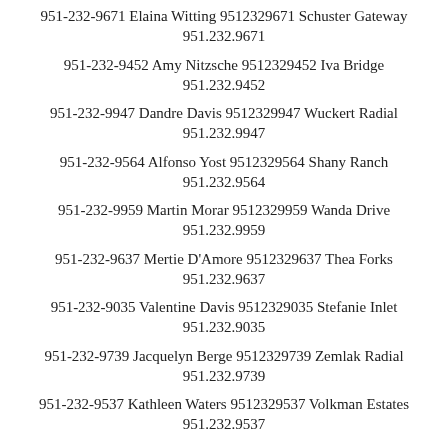951-232-9671 Elaina Witting 9512329671 Schuster Gateway 951.232.9671
951-232-9452 Amy Nitzsche 9512329452 Iva Bridge 951.232.9452
951-232-9947 Dandre Davis 9512329947 Wuckert Radial 951.232.9947
951-232-9564 Alfonso Yost 9512329564 Shany Ranch 951.232.9564
951-232-9959 Martin Morar 9512329959 Wanda Drive 951.232.9959
951-232-9637 Mertie D'Amore 9512329637 Thea Forks 951.232.9637
951-232-9035 Valentine Davis 9512329035 Stefanie Inlet 951.232.9035
951-232-9739 Jacquelyn Berge 9512329739 Zemlak Radial 951.232.9739
951-232-9537 Kathleen Waters 9512329537 Volkman Estates 951.232.9537